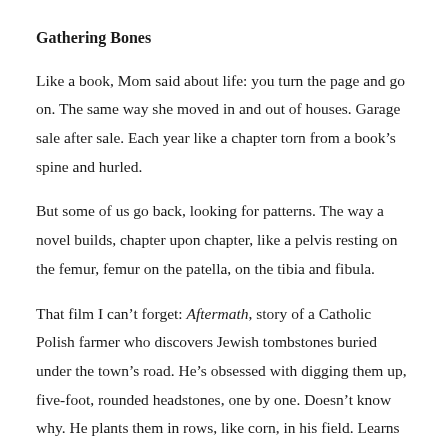Gathering Bones
Like a book, Mom said about life: you turn the page and go on. The same way she moved in and out of houses. Garage sale after sale. Each year like a chapter torn from a book’s spine and hurled.
But some of us go back, looking for patterns. The way a novel builds, chapter upon chapter, like a pelvis resting on the femur, femur on the patella, on the tibia and fibula.
That film I can’t forget: Aftermath, story of a Catholic Polish farmer who discovers Jewish tombstones buried under the town’s road. He’s obsessed with digging them up, five-foot, rounded headstones, one by one. Doesn’t know why. He plants them in rows, like corn, in his field. Learns Hebrew, reads the